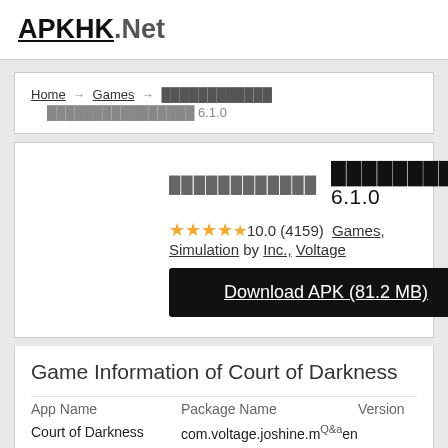APKHK.Net
Home → Games → ████████████ ████████████████ 6.1.0
████████████ ████████████████ 6.1.0
★★★★★ 10.0 (4159) Games, Simulation by Inc., Voltage
Download APK (81.2 MB)
Game Information of Court of Darkness
| App Name | Package Name | Version |
| --- | --- | --- |
| Court of Darkness | com.voltage.joshine.m…en | … |